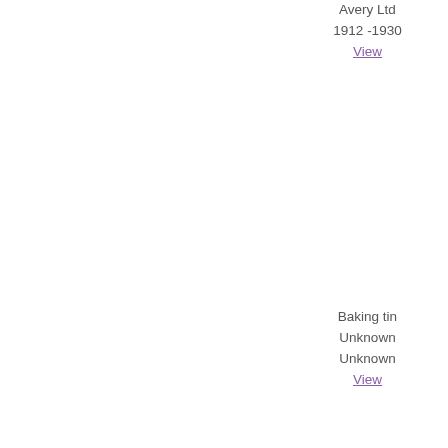Avery Ltd
1912 -1930
View
Baking tin
Unknown
Unknown
View